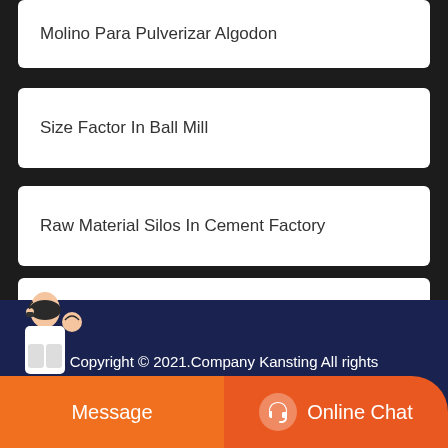Molino Para Pulverizar Algodon
Size Factor In Ball Mill
Raw Material Silos In Cement Factory
Used Rotary Dryer For Sale In Australia
Copyright © 2021.Company Kansting All rights reserved. Sitemap
Message
Online Chat